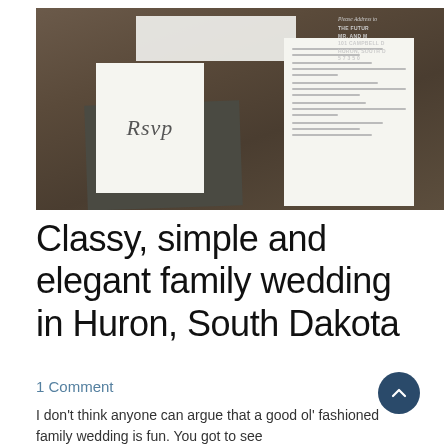[Figure (photo): Wedding stationery flat lay on a dark wooden surface. Shows RSVP card, dark envelope, small white card, and main wedding invitation card. Top right shows partial address card with script text 'Please Address to' and 'The Future Mr. and Mrs.' text.]
Classy, simple and elegant family wedding in Huron, South Dakota
1 Comment
I don't think anyone can argue that a good ol' fashioned family wedding is fun. You got to see